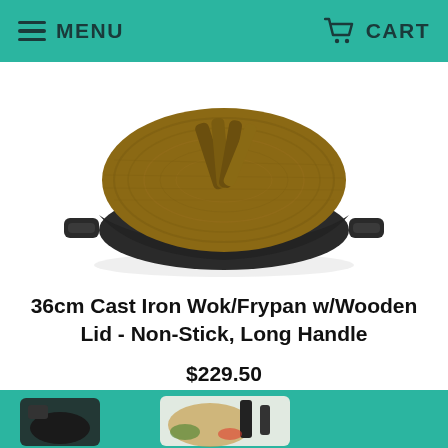MENU   CART
[Figure (photo): A black cast iron wok/frypan with a round wooden lid featuring a folded wooden handle on top. The wok has two side cast iron handles. Photographed on a white background at a slight angle.]
36cm Cast Iron Wok/Frypan w/Wooden Lid - Non-Stick, Long Handle
$229.50
[Figure (photo): Partial view of product thumbnails at the bottom of the page, showing portions of product images on a teal background.]